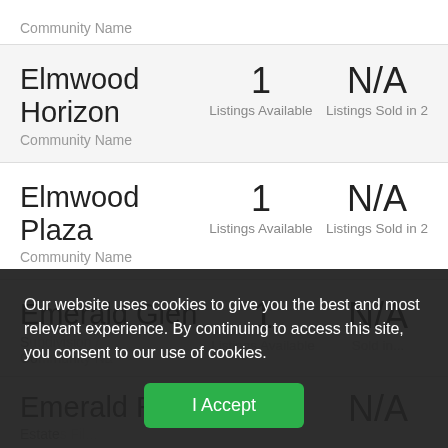Community Name
| Community Name | Listings Available | Listings Sold in 2... |
| --- | --- | --- |
| Elmwood Horizon
Community Name | 1
Listings Available | N/A
Listings Sold in 2... |
| Elmwood Plaza
Community Name | 1
Listings Available | N/A
Listings Sold in 2... |
| Emerald Glen
Community Name | 1
Listings Available | N/A
Listings Sold in 2... |
| Emerald Ridge Estates Fil... |  | N/A |
Our website uses cookies to give you the best and most relevant experience. By continuing to access this site, you consent to our use of cookies.
I Accept